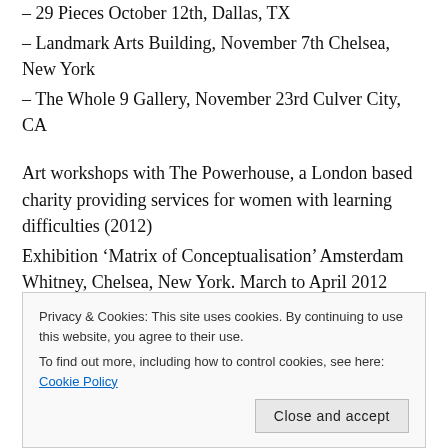– 29 Pieces October 12th, Dallas, TX
– Landmark Arts Building, November 7th Chelsea, New York
– The Whole 9 Gallery, November 23rd Culver City, CA
Art workshops with The Powerhouse, a London based charity providing services for women with learning difficulties (2012)
Exhibition ‘Matrix of Conceptualisation’ Amsterdam Whitney, Chelsea, New York. March to April 2012
Privacy & Cookies: This site uses cookies. By continuing to use this website, you agree to their use.
To find out more, including how to control cookies, see here: Cookie Policy
Close and accept